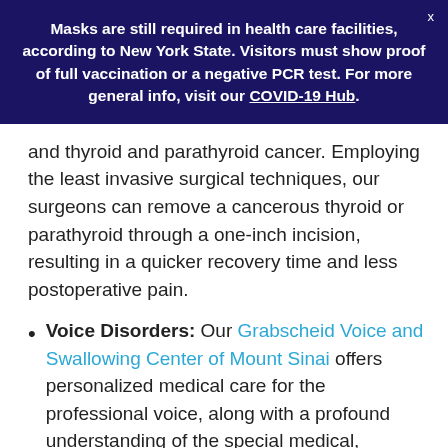Masks are still required in health care facilities, according to New York State. Visitors must show proof of full vaccination or a negative PCR test. For more general info, visit our COVID-19 Hub.
and thyroid and parathyroid cancer. Employing the least invasive surgical techniques, our surgeons can remove a cancerous thyroid or parathyroid through a one-inch incision, resulting in a quicker recovery time and less postoperative pain.
Voice Disorders: Our Grabscheid Voice and Swallowing Center of Mount Sinai offers personalized medical care for the professional voice, along with a profound understanding of the special medical, psychological, and professional needs of singers, actors, and public speakers. Conditions we treat include vocal cord lesions, vocal cord paralysis, dysplasia,